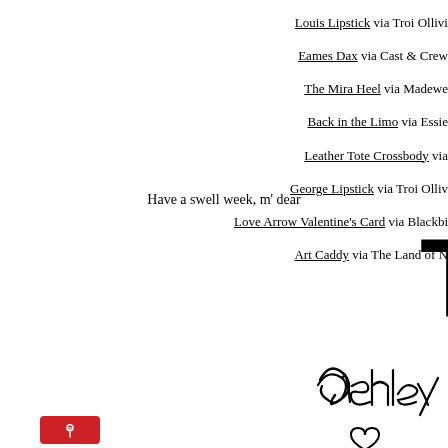Louis Lipstick via Troi Ollivi
Eames Dax via Cast & Crew
The Mira Heel via Madewe
Back in the Limo via Essie
Leather Tote Crossbody via
George Lipstick via Troi Olliv
Love Arrow Valentine's Card via Blackbi
Art Caddy via The Land of N
Have a swell week, m' dear
TOODLE
[Figure (illustration): Handwritten signature 'Ashley' in cursive script with a small heart below]
[Figure (logo): Pinterest 'Pin it' button in red]